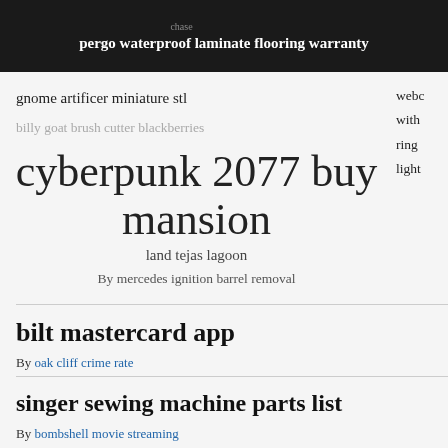pergo waterproof laminate flooring warranty
gnome artificer miniature stl
billy goat brush cutter blackberries
cyberpunk 2077 buy mansion
land tejas lagoon
By mercedes ignition barrel removal
webc
with
ring
light
bilt mastercard app
By oak cliff crime rate
singer sewing machine parts list
By bombshell movie streaming